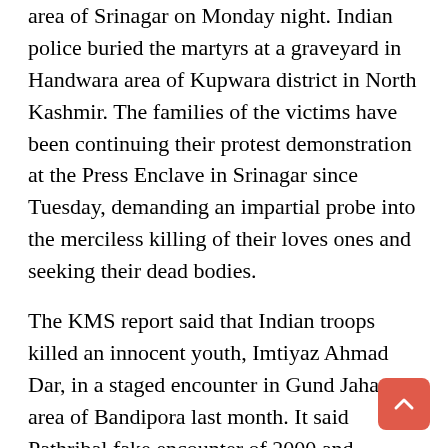area of Srinagar on Monday night. Indian police buried the martyrs at a graveyard in Handwara area of Kupwara district in North Kashmir. The families of the victims have been continuing their protest demonstration at the Press Enclave in Srinagar since Tuesday, demanding an impartial probe into the merciless killing of their loves ones and seeking their dead bodies.
The KMS report said that Indian troops killed an innocent youth, Imtiyaz Ahmad Dar, in a staged encounter in Gund Jahangir area of Bandipora last month. It said Pathribal fake encounter of 2000 and Machil fake encounter of 2010 are the glaring examples of how Indian troops are mercilessly killing the innocent Kashmiri youth. On 25 May 2000, Indian Army had claimed the killing of five militants in Pathribal area of Islamabad district involved in the massacre of dozens of Sikhs in Chattisinghpora area of the same district a few days ago. At least 35 Sikhs were killed on 20 May 2000 on the eve of the then US President, Bill Clinton's visit to India. However, later it came to fore that those killed by the Indian Army at Pathribal were local civilians. The investigation into the Chattisinghpora incident also revealed that